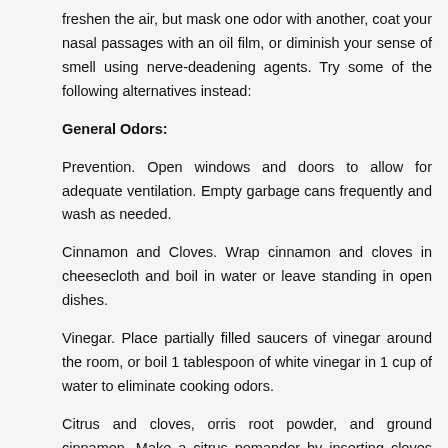freshen the air, but mask one odor with another, coat your nasal passages with an oil film, or diminish your sense of smell using nerve-deadening agents. Try some of the following alternatives instead:
General Odors:
Prevention. Open windows and doors to allow for adequate ventilation. Empty garbage cans frequently and wash as needed.
Cinnamon and Cloves. Wrap cinnamon and cloves in cheesecloth and boil in water or leave standing in open dishes.
Vinegar. Place partially filled saucers of vinegar around the room, or boil 1 tablespoon of white vinegar in 1 cup of water to eliminate cooking odors.
Citrus and cloves, orris root powder, and ground cinnamon. Make a citrus pomander by inserting cloves into an orange, lemon, or lime.